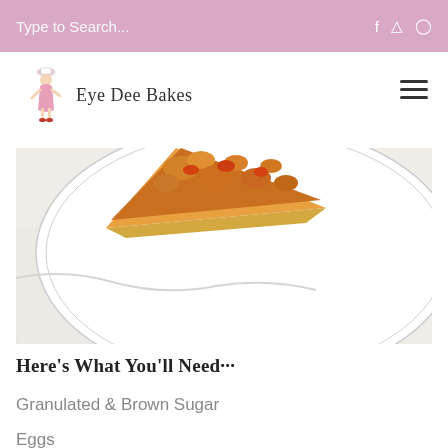Type to Search...
[Figure (logo): Eye Dee Bakes script logo with illustrated baker figure]
[Figure (photo): Overhead view of a slice of crumble or streusel-topped pastry/tart on a white plate with linen cloth]
Here's What You'll Need···
Granulated & Brown Sugar
Eggs